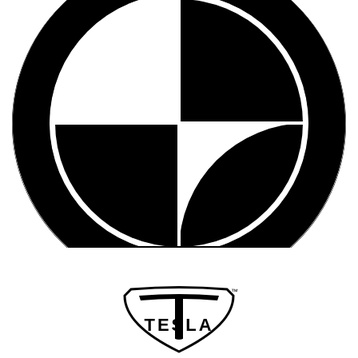[Figure (logo): BMW logo in black and white: large circular emblem with thick black outer ring, inner circle divided into four quadrants alternating black and white (checkered), with 'BMW' text in the upper arc of the outer ring.]
[Figure (logo): Tesla logo in black and white: shield-shaped badge with 'TESLA' text inside, with a small 'TM' trademark symbol to the upper right.]